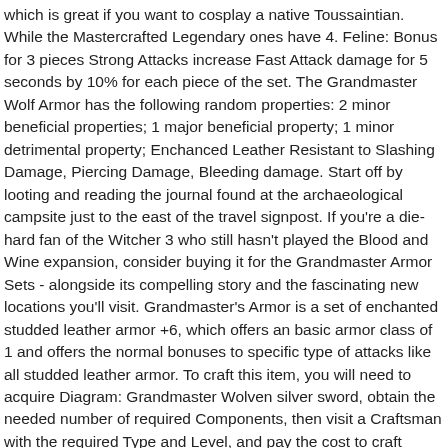which is great if you want to cosplay a native Toussaintian. While the Mastercrafted Legendary ones have 4. Feline: Bonus for 3 pieces Strong Attacks increase Fast Attack damage for 5 seconds by 10% for each piece of the set. The Grandmaster Wolf Armor has the following random properties: 2 minor beneficial properties; 1 major beneficial property; 1 minor detrimental property; Enchanced Leather Resistant to Slashing Damage, Piercing Damage, Bleeding damage. Start off by looting and reading the journal found at the archaeological campsite just to the east of the travel signpost. If you're a die-hard fan of the Witcher 3 who still hasn't played the Blood and Wine expansion, consider buying it for the Grandmaster Armor Sets - alongside its compelling story and the fascinating new locations you'll visit. Grandmaster's Armor is a set of enchanted studded leather armor +6, which offers an basic armor class of 1 and offers the normal bonuses to specific type of attacks like all studded leather armor. To craft this item, you will need to acquire Diagram: Grandmaster Wolven silver sword, obtain the needed number of required Components, then visit a Craftsman with the required Type and Level, and pay the cost to craft it.The complete information needed to craft this item can be found below. This grandmaster armor set provides two unique bonuses revolving around bombs and sword oils.